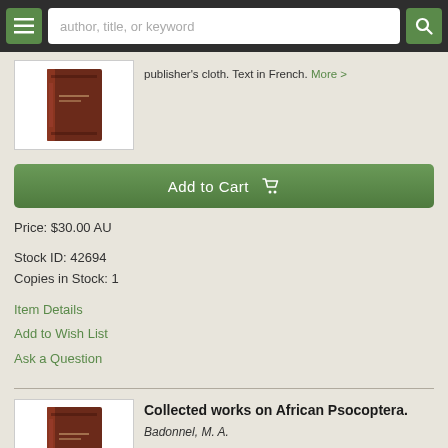author, title, or keyword
publisher's cloth. Text in French. More >
[Figure (photo): Brown cloth-bound book shown at an angle]
Add to Cart
Price: $30.00 AU
Stock ID: 42694
Copies in Stock: 1
Item Details
Add to Wish List
Ask a Question
[Figure (photo): Brown cloth-bound book shown at an angle]
Collected works on African Psocoptera.
Badonnel, M. A.